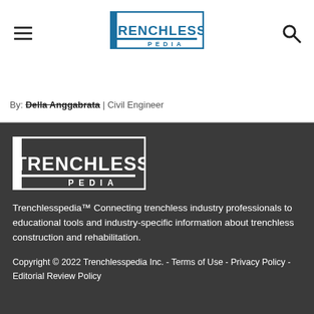TRENCHLESS PEDIA [logo]
By: Della Anggabrata | Civil Engineer
[Figure (logo): Trenchlesspedia logo in white on dark background]
Trenchlesspedia™ Connecting trenchless industry professionals to educational tools and industry-specific information about trenchless construction and rehabilitation.
Copyright © 2022 Trenchlesspedia Inc. - Terms of Use - Privacy Policy - Editorial Review Policy